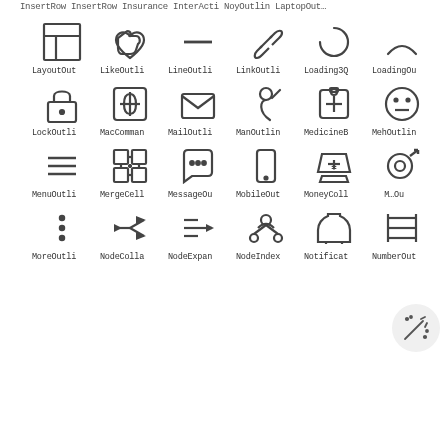InsertRow InsertRow Insurance InterActi NoyOutlin LaptopOut
[Figure (illustration): Row of 6 outline icons: LayoutOut, LikeOutli, LineOutli, LinkOutli, Loading3Q, LoadingOu]
LayoutOut LikeOutli LineOutli LinkOutli Loading3Q LoadingOu
[Figure (illustration): Row of 6 outline icons: LockOutli, MacComman, MailOutli, ManOutlin, MedicineB, MehOutlin]
LockOutli MacComman MailOutli ManOutlin MedicineB MehOutlin
[Figure (illustration): Row of 6 outline icons: MenuOutli, MergeCell, MessageOu, MobileOut, MoneyColl, M...Ou]
MenuOutli MergeCell MessageOu MobileOut MoneyColl M...Ou
[Figure (illustration): Row of 6 outline icons: MoreOutli, NodeColla, NodeExpan, NodeIndex, Notificat, NumberOut]
MoreOutli NodeColla NodeExpan NodeIndex Notificat NumberOut